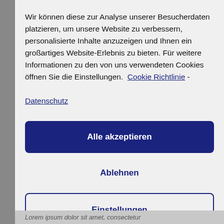Wir können diese zur Analyse unserer Besucherdaten platzieren, um unsere Website zu verbessern, personalisierte Inhalte anzuzeigen und Ihnen ein großartiges Website-Erlebnis zu bieten. Für weitere Informationen zu den von uns verwendeten Cookies öffnen Sie die Einstellungen.  Cookie Richtlinie - Datenschutz
Alle akzeptieren
Ablehnen
Einstellungen
Lorem ipsum dolor sit amet, consectetur